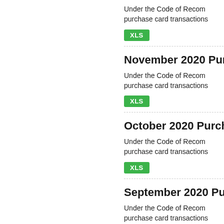Under the Code of Recom purchase card transactions
[Figure (other): XLS download badge (green button)]
November 2020 Purch
Under the Code of Recom purchase card transactions
[Figure (other): XLS download badge (green button)]
October 2020 Purchas
Under the Code of Recom purchase card transactions
[Figure (other): XLS download badge (green button)]
September 2020 Purc
Under the Code of Recom purchase card transactions